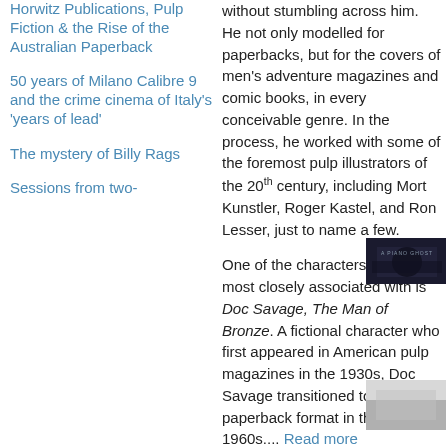Horwitz Publications, Pulp Fiction & the Rise of the Australian Paperback
50 years of Milano Calibre 9 and the crime cinema of Italy's 'years of lead'
The mystery of Billy Rags
Sessions from two-
without stumbling across him. He not only modelled for paperbacks, but for the covers of men's adventure magazines and comic books, in every conceivable genre. In the process, he worked with some of the foremost pulp illustrators of the 20th century, including Mort Kunstler, Roger Kastel, and Ron Lesser, just to name a few.
One of the characters Holland is most closely associated with is Doc Savage, The Man of Bronze. A fictional character who first appeared in American pulp magazines in the 1930s, Doc Savage transitioned to the paperback format in the mid-1960s.... Read more
[Figure (photo): Dark image thumbnail, appears to show a figure in shadow]
[Figure (photo): Light gray image thumbnail]